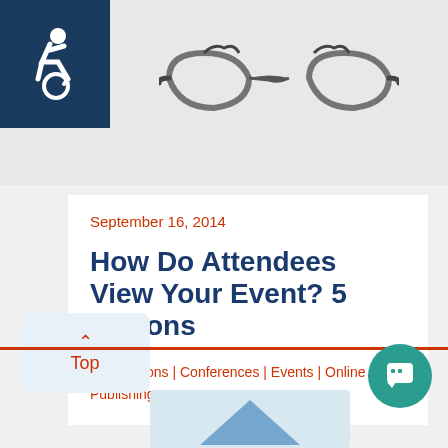[Figure (photo): Accessibility icon in dark blue square on top left, and sports sunglasses/eyewear illustration on light grey banner background]
September 16, 2014
How Do Attendees View Your Event? 5 Options
Associations | Conferences | Events | Online Publishing
[Figure (illustration): Back-to-Top button (chevron up arrow and 'Top' label in red) on light blue rounded rectangle, with orange-red horizontal bar and teal chat bubble icon on right]